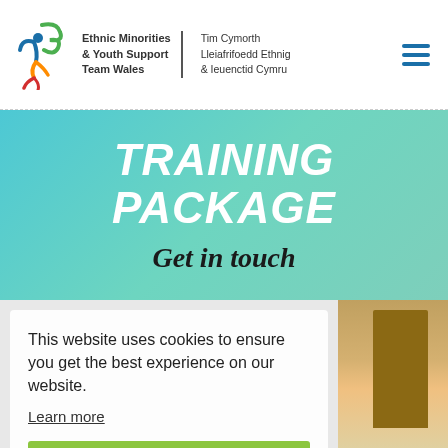[Figure (logo): Ethnic Minorities & Youth Support Team Wales logo with colourful figure and Welsh text]
TRAINING PACKAGE
Get in touch
This website uses cookies to ensure you get the best experience on our website.
Learn more
Got it!